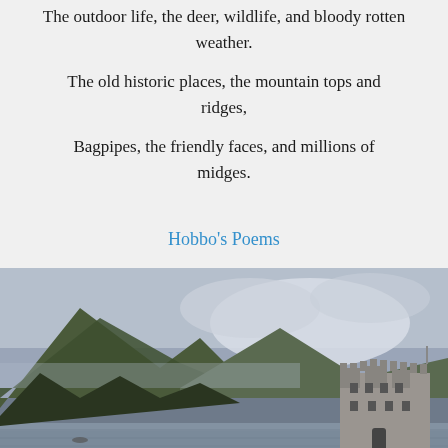The outdoor life, the deer, wildlife, and bloody rotten weather.
The old historic places, the mountain tops and ridges,
Bagpipes, the friendly faces, and millions of midges.
Hobbo's Poems
[Figure (photo): Photograph of a Scottish Highland scene: a stone castle on the right beside a still loch, with dramatic misty mountains and overcast sky in the background.]